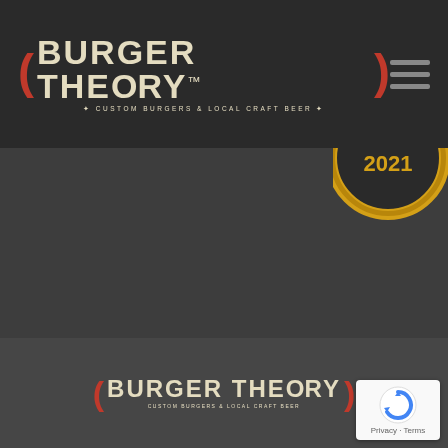[Figure (logo): Burger Theory logo with red brackets, cream colored text 'BURGER THEORY™' and tagline 'CUSTOM BURGERS & LOCAL CRAFT BEER' on dark background header]
[Figure (other): Hamburger menu icon (three horizontal lines) in grey on dark background, top right of header]
[Figure (other): Gold circular badge showing '2021', partially cropped at top right of page]
[Figure (other): Silver circular badge reading 'BEST of GREATER IDAHO FALLS SILVER WINNER 2021' with rope/chain border]
[Figure (logo): Burger Theory footer logo with red brackets and cream text 'BURGER THEORY' and tagline 'CUSTOM BURGERS & LOCAL CRAFT BEER']
[Figure (other): Google reCAPTCHA badge showing reCAPTCHA icon with 'Privacy - Terms' text on white background, bottom right corner]